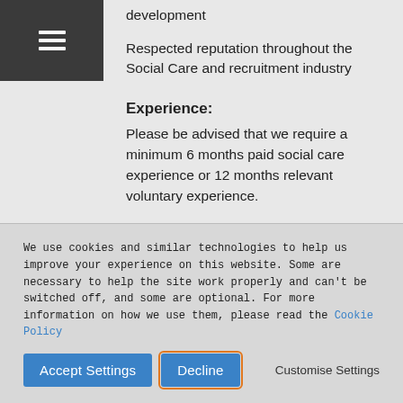development
Respected reputation throughout the Social Care and recruitment industry
Experience:
Please be advised that we require a minimum 6 months paid social care experience or 12 months relevant voluntary experience.
DBS:
We are fully committed to the protection of children and vulnerable adults. All applicants must undertake a robust recruitment procedure and hold a fully enhanced DBS (formerly CRB) check.
We use cookies and similar technologies to help us improve your experience on this website. Some are necessary to help the site work properly and can't be switched off, and some are optional. For more information on how we use them, please read the Cookie Policy
Accept Settings   Decline   Customise Settings